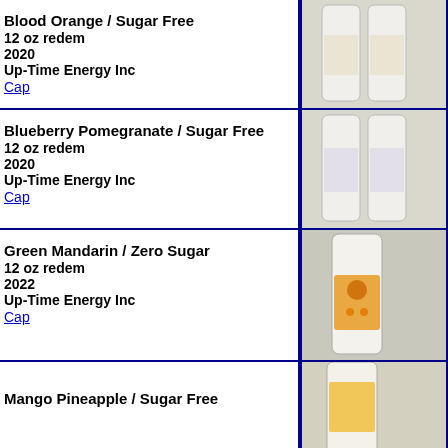Blood Orange / Sugar Free
12 oz redem
2020
Up-Time Energy Inc
Cap
[Figure (photo): Two white bottles of Up-Time Energy drink, Blood Orange Sugar Free variant]
Blueberry Pomegranate / Sugar Free
12 oz redem
2020
Up-Time Energy Inc
Cap
[Figure (photo): Two white bottles of Up-Time Energy drink, Blueberry Pomegranate Sugar Free variant]
Green Mandarin / Zero Sugar
12 oz redem
2022
Up-Time Energy Inc
Cap
[Figure (photo): White bottle with orange/yellow label of Up-Time Energy drink, Green Mandarin Zero Sugar variant]
Mango Pineapple / Sugar Free
[Figure (photo): Partial view of Up-Time Energy drink, Mango Pineapple Sugar Free variant]